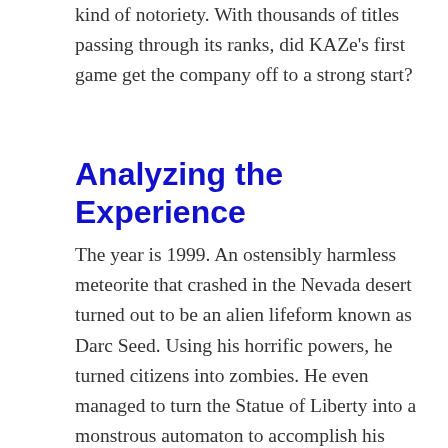kind of notoriety. With thousands of titles passing through its ranks, did KAZe's first game get the company off to a strong start?
Analyzing the Experience
The year is 1999. An ostensibly harmless meteorite that crashed in the Nevada desert turned out to be an alien lifeform known as Darc Seed. Using his horrific powers, he turned citizens into zombies. He even managed to turn the Statue of Liberty into a monstrous automaton to accomplish his desires. The rays emanating from his powers gave him control over many deadly weapons, including the legendary samurai sword, Shura. Only one entity is capable of stopping Darc Seed: the great head of the samurai. Now, his lineage of Darc Seed…